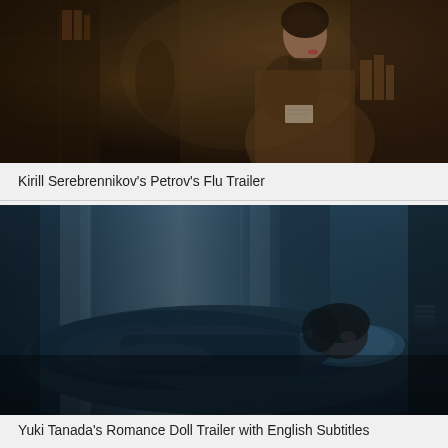[Figure (photo): Dark moody scene in a library or archive setting. A woman in a brown coat is seen from behind/side, with a name badge visible. Bookshelves line the background. Low-key cinematic lighting with warm amber tones.]
Kirill Serebrennikov’s Petrov’s Flu Trailer
[Figure (photo): Dark blue-tinted cinematic scene of a person lying in bed, partially covered by dark bedding. A blue pillow visible, soft light from a window with white curtains in the background. Moody, atmospheric lighting.]
Yuki Tanada’s Romance Doll Trailer with English Subtitles